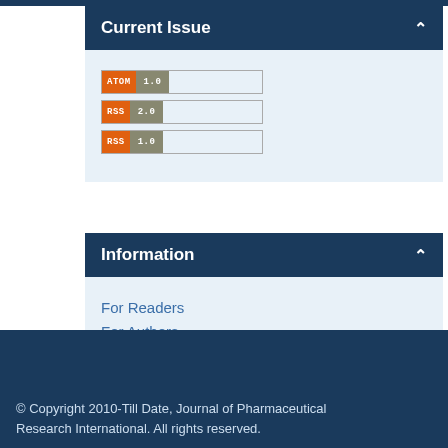Current Issue
[Figure (other): Feed subscription badges: ATOM 1.0, RSS 2.0, RSS 1.0]
Information
For Readers
For Authors
For Librarians
© Copyright 2010-Till Date, Journal of Pharmaceutical Research International. All rights reserved.